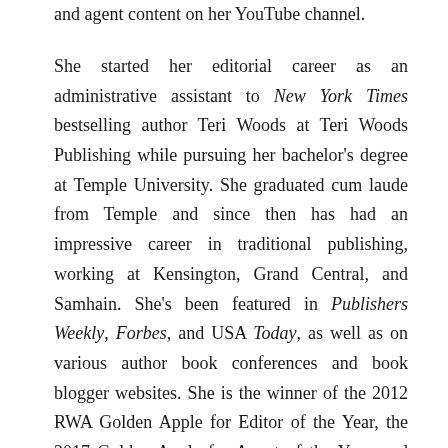and agent content on her YouTube channel.
She started her editorial career as an administrative assistant to New York Times bestselling author Teri Woods at Teri Woods Publishing while pursuing her bachelor's degree at Temple University. She graduated cum laude from Temple and since then has had an impressive career in traditional publishing, working at Kensington, Grand Central, and Samhain. She's been featured in Publishers Weekly, Forbes, and USA Today, as well as on various author book conferences and book blogger websites. She is the winner of the 2012 RWA Golden Apple for Editor of the Year, the 2017 Golden Apple for Agent of the Year, and the 2017 and 2021 Literary Jewels Award for Editor of the Year.